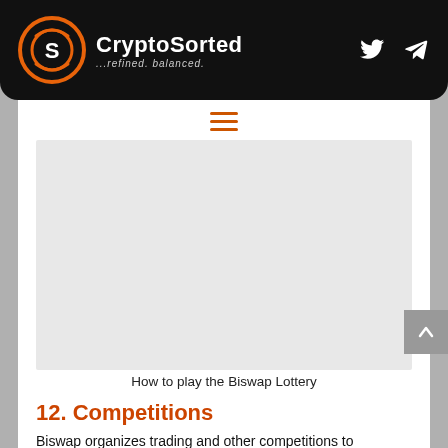CryptoSorted ...refined. balanced.
[Figure (other): Placeholder image area for Biswap Lottery tutorial screenshot]
How to play the Biswap Lottery
12. Competitions
Biswap organizes trading and other competitions to